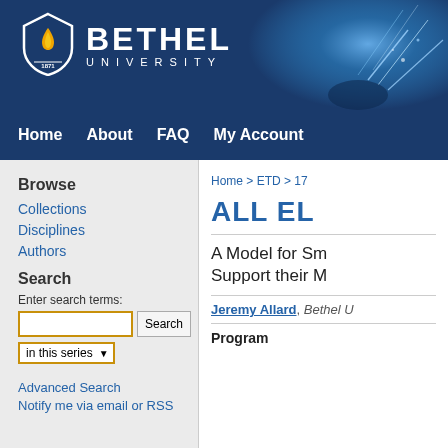[Figure (logo): Bethel University logo with shield icon (yellow flame, '1871') and white text 'BETHEL UNIVERSITY' on dark blue background with welding sparks photo on right side]
Home   About   FAQ   My Account
Browse
Collections
Disciplines
Authors
Search
Enter search terms:
in this series
Advanced Search
Notify me via email or RSS
Home > ETD > 17
ALL EL
A Model for Sm Support their M
Jeremy Allard, Bethel U
Program